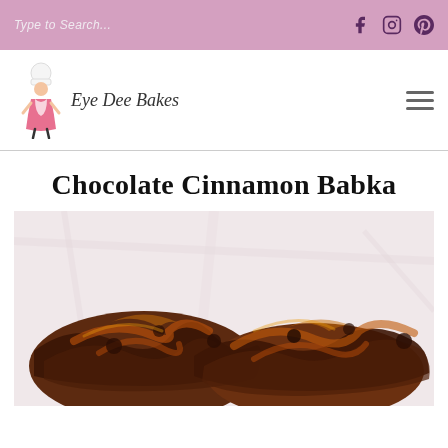Type to Search...
[Figure (logo): Eye Dee Bakes blog logo with illustrated baker figure and cursive text]
Chocolate Cinnamon Babka
[Figure (photo): Close-up photo of a chocolate cinnamon babka loaf showing swirled dark chocolate and cinnamon layers on a light pink/white marble surface]